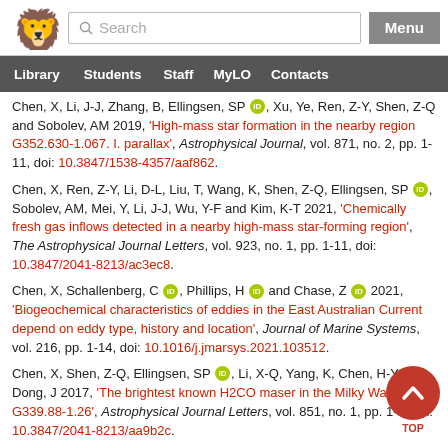University website header with logo, search bar, and Menu button
Navigation: Library | Students | Staff | MyLO | Contacts
Chen, X, Li, J-J, Zhang, B, Ellingsen, SP [ORCID], Xu, Ye, Ren, Z-Y, Shen, Z-Q and Sobolev, AM 2019, 'High-mass star formation in the nearby region G352.630-1.067. I. parallax', Astrophysical Journal, vol. 871, no. 2, pp. 1-11, doi: 10.3847/1538-4357/aaf862.
Chen, X, Ren, Z-Y, Li, D-L, Liu, T, Wang, K, Shen, Z-Q, Ellingsen, SP [ORCID], Sobolev, AM, Mei, Y, Li, J-J, Wu, Y-F and Kim, K-T 2021, 'Chemically fresh gas inflows detected in a nearby high-mass star-forming region', The Astrophysical Journal Letters, vol. 923, no. 1, pp. 1-11, doi: 10.3847/2041-8213/ac3ec8.
Chen, X, Schallenberg, C [ORCID], Phillips, H [ORCID] and Chase, Z [ORCID] 2021, 'Biogeochemical characteristics of eddies in the East Australian Current depend on eddy type, history and location', Journal of Marine Systems, vol. 216, pp. 1-14, doi: 10.1016/j.jmarsys.2021.103512.
Chen, X, Shen, Z-Q, Ellingsen, SP [ORCID], Li, X-Q, Yang, K, Chen, H-Y and Dong, J 2017, 'The brightest known H2CO maser in the Milky Way G339.88-1.26', Astrophysical Journal Letters, vol. 851, no. 1, pp. 1-5, doi: 10.3847/2041-8213/aa9b2c.